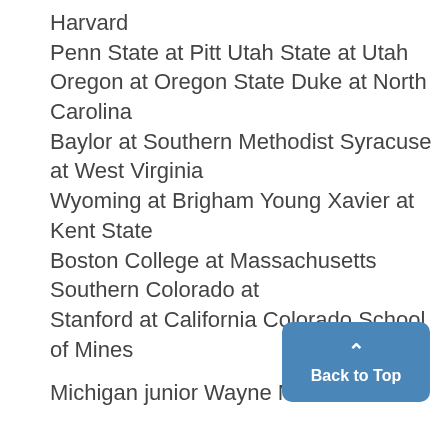Harvard
Penn State at Pitt Utah State at Utah
Oregon at Oregon State Duke at North Carolina
Baylor at Southern Methodist Syracuse at West Virginia
Wyoming at Brigham Young Xavier at Kent State
Boston College at Massachusetts Southern Colorado at
Stanford at California Colorado School of Mines
Michigan junior Wayne Miller